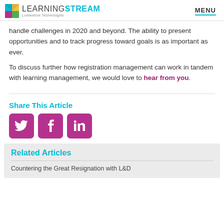LEARNING STREAM — Lumaverse Technologies  MENU
handle challenges in 2020 and beyond. The ability to present opportunities and to track progress toward goals is as important as ever.
To discuss further how registration management can work in tandem with learning management, we would love to hear from you.
Share This Article
[Figure (infographic): Three social media share buttons: Twitter (bird icon), Facebook (f icon), LinkedIn (in icon), all in magenta/purple color]
Related Articles
Countering the Great Resignation with L&D